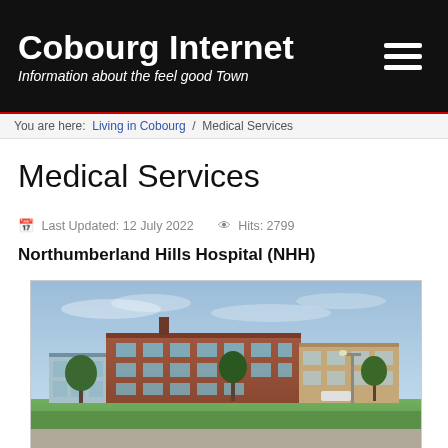Cobourg Internet
Information about the feel good Town
You are here: Living in Cobourg / Medical Services
Medical Services
Last Updated: 12 July 2022   Hits: 2799
Northumberland Hills Hospital (NHH)
[Figure (photo): Exterior photo of Northumberland Hills Hospital (NHH), a modern multi-storey brick building with green lawn in foreground and blue sky in background.]